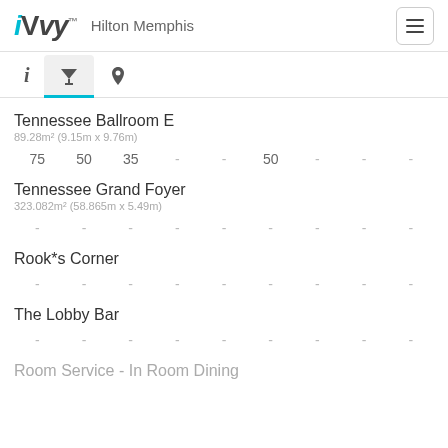iVvy — Hilton Memphis
Tennessee Ballroom E
89.28m² (9.15m x 9.76m)
75  50  35  -  -  50  -  -  -
Tennessee Grand Foyer
323.082m² (58.865m x 5.49m)
-  -  -  -  -  -  -  -  -
Rook*s Corner
-  -  -  -  -  -  -  -  -
The Lobby Bar
-  -  -  -  -  -  -  -  -
Room Service - In Room Dining